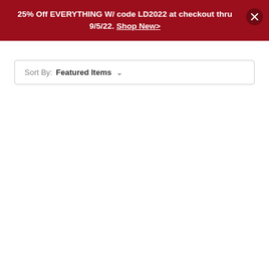25% Off EVERYTHING W/ code LD2022 at checkout thru 9/5/22. Shop New>
Sort By: Featured Items